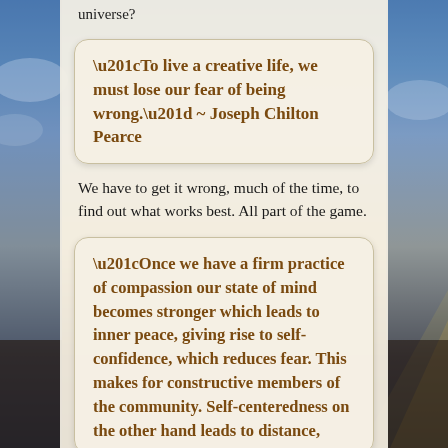universe?
“To live a creative life, we must lose our fear of being wrong.” ~ Joseph Chilton Pearce
We have to get it wrong, much of the time, to find out what works best. All part of the game.
“Once we have a firm practice of compassion our state of mind becomes stronger which leads to inner peace, giving rise to self-confidence, which reduces fear. This makes for constructive members of the community. Self-centeredness on the other hand leads to distance,